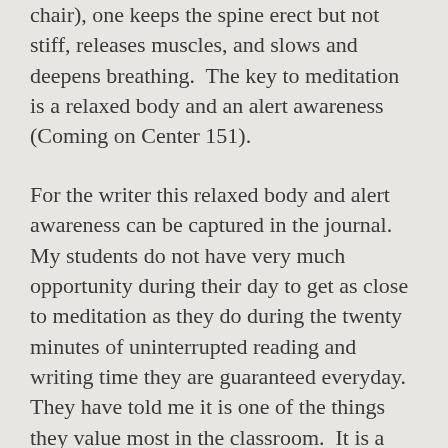chair), one keeps the spine erect but not stiff, releases muscles, and slows and deepens breathing.  The key to meditation is a relaxed body and an alert awareness (Coming on Center 151).
For the writer this relaxed body and alert awareness can be captured in the journal.  My students do not have very much opportunity during their day to get as close to meditation as they do during the twenty minutes of uninterrupted reading and writing time they are guaranteed everyday.  They have told me it is one of the things they value most in the classroom.  It is a time for